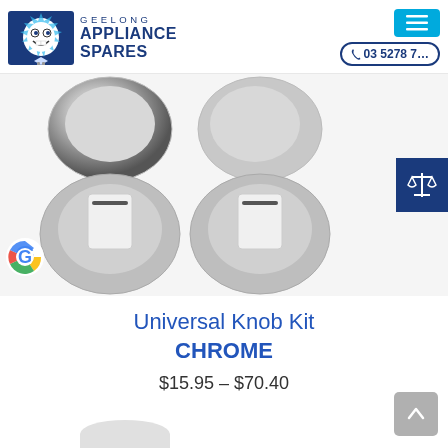[Figure (logo): Geelong Appliance Spares logo with cartoon lightbulb character and text]
[Figure (photo): Four chrome universal knob kit components shown in a 2x2 grid arrangement on light background]
Universal Knob Kit CHROME
$15.95 – $70.40